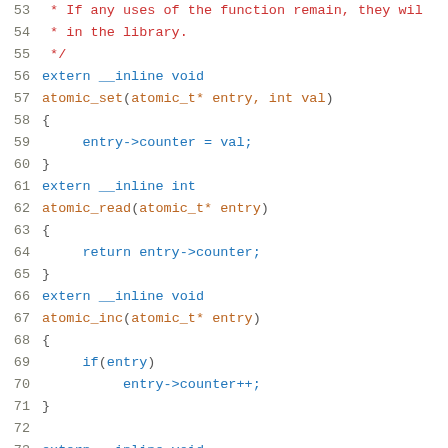Code listing lines 53-74, C source code showing atomic operations: atomic_set, atomic_read, atomic_inc functions with inline extern declarations